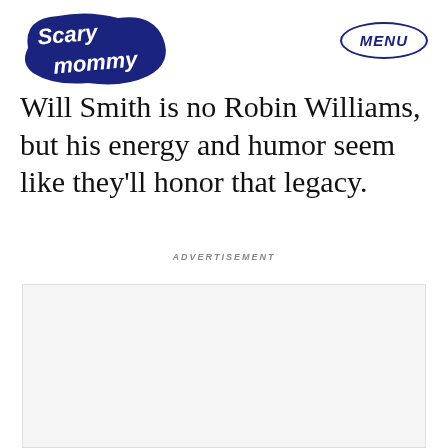Scary Mommy | MENU
Will Smith is no Robin Williams, but his energy and humor seem like they'll honor that legacy.
ADVERTISEMENT
[Figure (other): Advertisement placeholder box with light gray background]